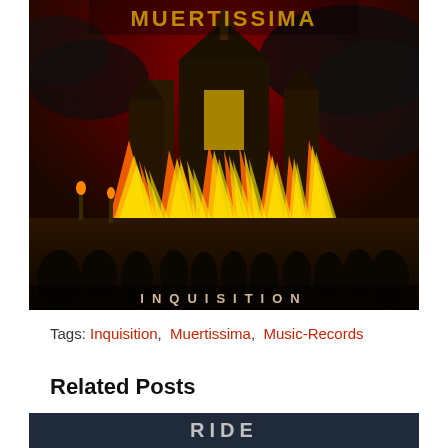[Figure (illustration): Dark metal album cover showing a burning gothic castle with crowds of figures in front, flames and smoke, with the text INQUISITION at the bottom]
Tags: Inquisition, Muertissima, Music-Records
Related Posts
[Figure (photo): Partial image of a related post, dark background with stylized text]